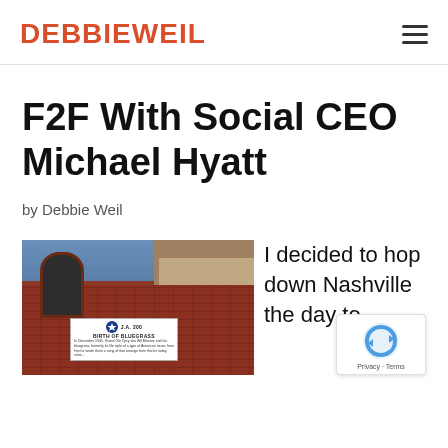DEBBIEWEIL
F2F With Social CEO Michael Hyatt
by Debbie Weil
[Figure (photo): Photo of a brick church building with gothic arch windows, blue sky visible, and a historical marker sign reading 'BIRTH OF BLUEGRASS' at the bottom]
I decided to hop down Nashville the day to